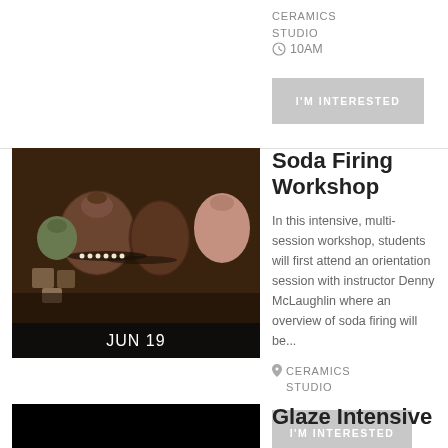STUDIO
⏰ 10AM
I'M INTERESTED
[Figure (photo): Ceramic pottery pieces including vases and small blocks displayed on shelves, dark moody lighting]
JUN 19
Soda Firing Workshop
In this intensive, multi-session workshop, students will first attend an orientation session with instructor Denny McLaughlin where an overview of soda firing will be...
CERAMICS STUDIO
I'M INTERESTED
[Figure (photo): Black thumbnail image for Glaze Intensive event]
Glaze Intensive